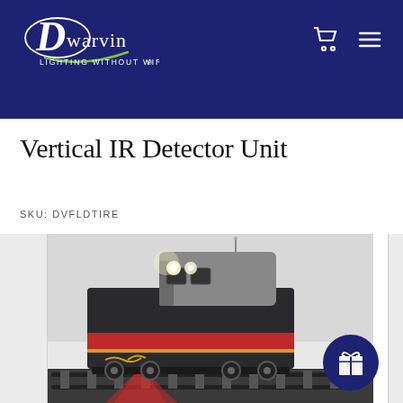[Figure (logo): Dwarvin logo with tagline 'Lighting Without Wiring®' on dark navy header background]
Vertical IR Detector Unit
SKU: DVFLDTIRE
[Figure (photo): 3D render of a model train locomotive (dark grey/black with red stripe and yellow accents) on railway track, with bright headlights glowing and a red IR beam/light visible near the front. The locomotive is viewed from a front-top angle.]